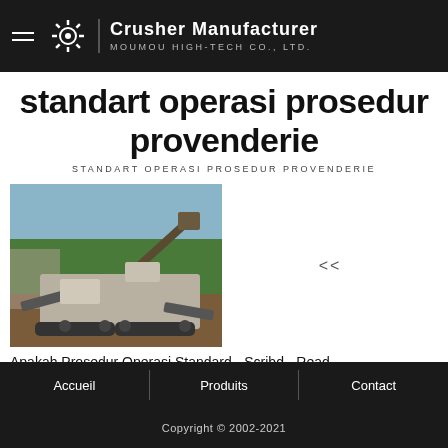Crusher Manufacturer MOUMOU HIGH-TECH CO., LTD.
standart operasi prosedur provenderie
STANDART OPERASI PROSEDUR PROVENDERIE
[Figure (photo): A large industrial mobile crusher/excavator machine on a dirt terrain with trees in background]
<<
Apakah Prosedur Operasi Standard - Scribd - Read
Apakah Prosedur Operasi Standard? Prosedur Operasi
Accueil   Produits   Contact
Copyright © 2002-2021